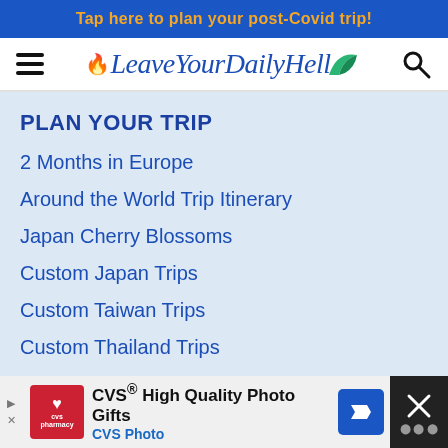Tap here to plan your post-Covid trip!
[Figure (logo): LeaveYourDailyHell travel blog logo with flame and leaf icons]
PLAN YOUR TRIP
2 Months in Europe
Around the World Trip Itinerary
Japan Cherry Blossoms
Custom Japan Trips
Custom Taiwan Trips
Custom Thailand Trips
Travel During Covid-19
[Figure (infographic): CVS Pharmacy advertisement banner: CVS High Quality Photo Gifts, CVS Photo]